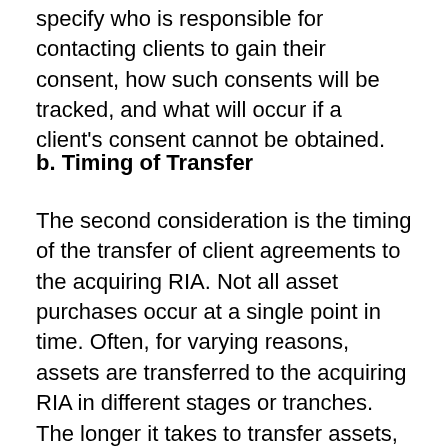specify who is responsible for contacting clients to gain their consent, how such consents will be tracked, and what will occur if a client's consent cannot be obtained.
b. Timing of Transfer
The second consideration is the timing of the transfer of client agreements to the acquiring RIA. Not all asset purchases occur at a single point in time. Often, for varying reasons, assets are transferred to the acquiring RIA in different stages or tranches. The longer it takes to transfer assets, the greater the chance a disruption could occur altering the anticipated transaction. For instance, what would happen if the selling RIA were an